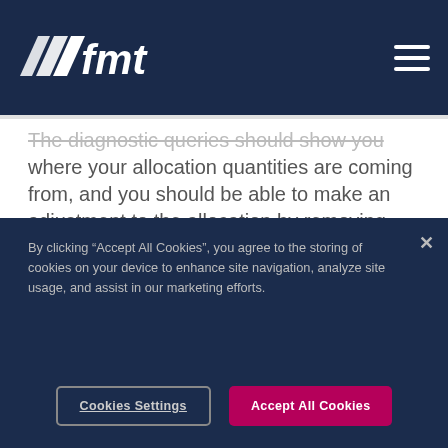[Figure (logo): FMT logo with stylized wing/slash marks in white on dark navy background]
The diagnostic queries should show you where your allocation quantities are coming from, and you should be able to make an adjustment to the allocation by removing unnecessary records, or repairing records that are legitimate but not showing in the GP inquiry.
By clicking “Accept All Cookies”, you agree to the storing of cookies on your device to enhance site navigation, analyze site usage, and assist in our marketing efforts.
Cookies Settings
Accept All Cookies